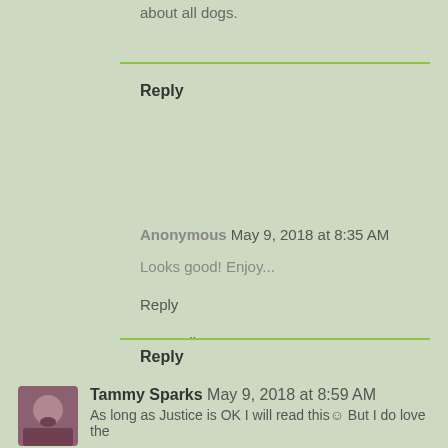about all dogs.
Reply
Anonymous May 9, 2018 at 8:35 AM
Looks good! Enjoy...
Reply
Replies
Barb May 10, 2018 at 1:52 PM
Thanks
Reply
Tammy Sparks May 9, 2018 at 8:59 AM
As long as Justice is OK I will read this☺ But I do love the